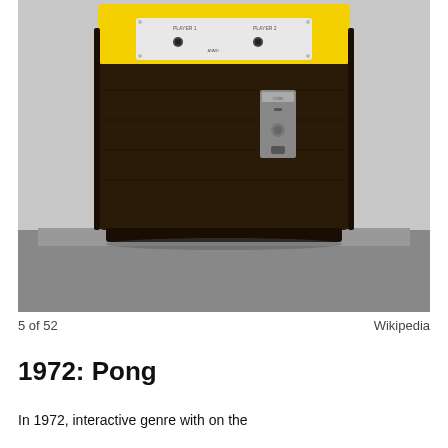[Figure (photo): Photograph of the Pong arcade cabinet from 1972, showing a dark wood-grain cabinet with a yellow top panel and a control panel with two player knobs and an Atari logo. A coin mechanism is visible on the side. The cabinet sits on a gray platform against a light gray wall.]
5 of 52	Wikipedia
1972: Pong
In 1972, interactive genre with on the